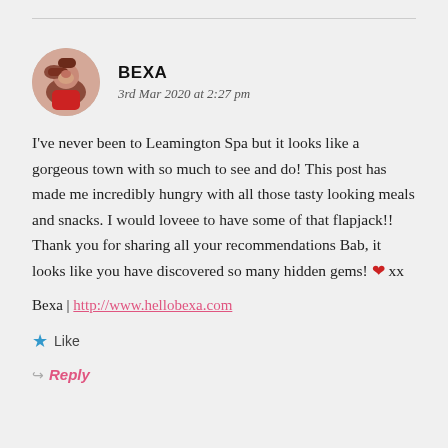[Figure (photo): Circular avatar photo of a woman with short reddish hair wearing a red top]
BEXA
3rd Mar 2020 at 2:27 pm
I've never been to Leamington Spa but it looks like a gorgeous town with so much to see and do! This post has made me incredibly hungry with all those tasty looking meals and snacks. I would loveee to have some of that flapjack!! Thank you for sharing all your recommendations Bab, it looks like you have discovered so many hidden gems! ❤ xx
Bexa | http://www.hellobexa.com
★ Like
↳ Reply